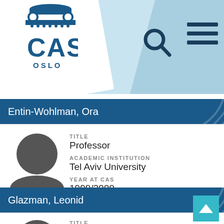[Figure (logo): CAS Oslo logo with column/pillar icon above text CAS OSLO in blue, on a light blue diagonal header with search and menu icons]
Entin-Wohlman, Ora
TITLE
Professor
ACADEMIC INSTITUTION
Tel Aviv University
YEAR AT CAS
1999/2000
Glazman, Leonid
TITLE
Professor
ACADEMIC INSTITUTION